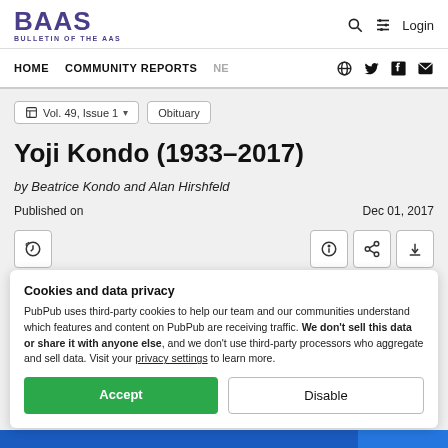BAAS BULLETIN OF THE AAS
HOME   COMMUNITY REPORTS   NE
Vol. 49, Issue 1   Obituary
Yoji Kondo (1933–2017)
by Beatrice Kondo and Alan Hirshfeld
Published on                                Dec 01, 2017
Cookies and data privacy
PubPub uses third-party cookies to help our team and our communities understand which features and content on PubPub are receiving traffic. We don't sell this data or share it with anyone else, and we don't use third-party processors who aggregate and sell data. Visit your privacy settings to learn more.
Accept   Disable